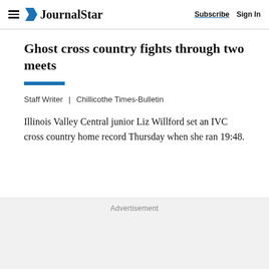Journal Star | Subscribe  Sign In
Ghost cross country fights through two meets
Staff Writer  |  Chillicothe Times-Bulletin
Illinois Valley Central junior Liz Willford set an IVC cross country home record Thursday when she ran 19:48.
Advertisement